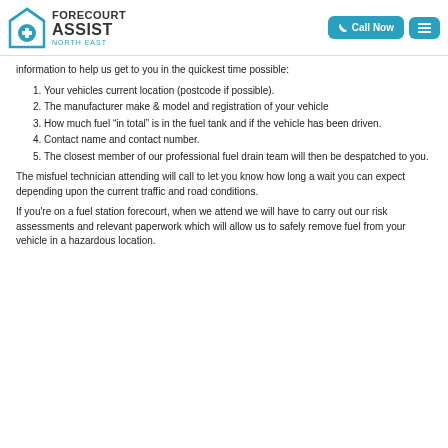Forecourt Assist North East | Call Now | Menu
information to help us get to you in the quickest time possible:
Your vehicles current location (postcode if possible).
The manufacturer make & model and registration of your vehicle
How much fuel “in total” is in the fuel tank and if the vehicle has been driven.
Contact name and contact number.
The closest member of our professional fuel drain team will then be despatched to you.
The misfuel technician attending will call to let you know how long a wait you can expect depending upon the current traffic and road conditions.
If you're on a fuel station forecourt, when we attend we will have to carry out our risk assessments and relevant paperwork which will allow us to safely remove fuel from your vehicle in a hazardous location.